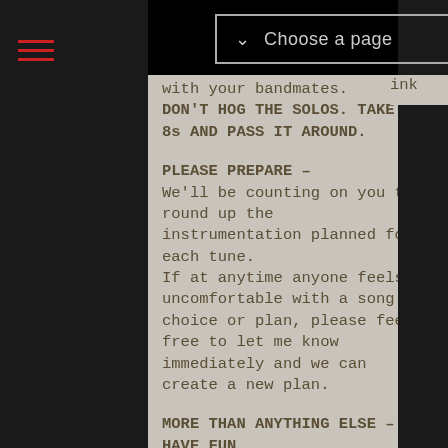Choose a page
ink with your bandmates.
DON'T HOG THE SOLOS. TAKE 8s AND PASS IT AROUND.

PLEASE PREPARE –
We'll be counting on you to round up the instrumentation planned for each tune.
If at anytime anyone feels uncomfortable with a song choice or plan, please feel free to let me know immediately and we can create a new plan.

MORE THAN ANYTHING ELSE – HAVE FUN
We thank each of you for choosing to include the Riverfront Blues Festival in your touring this season and for participating in this unique segment of